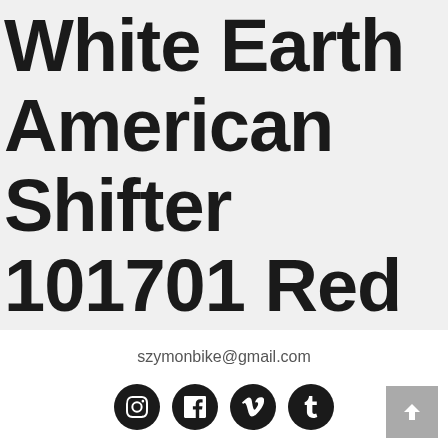White Earth American Shifter 101701 Red Shift Knob with M16 x 1.5 Insert
szymonbike@gmail.com
[Figure (infographic): Row of four social media icon buttons (Instagram, Facebook, Vimeo, Tumblr) as black circles with white icons, plus a grey scroll-to-top button in bottom right corner]